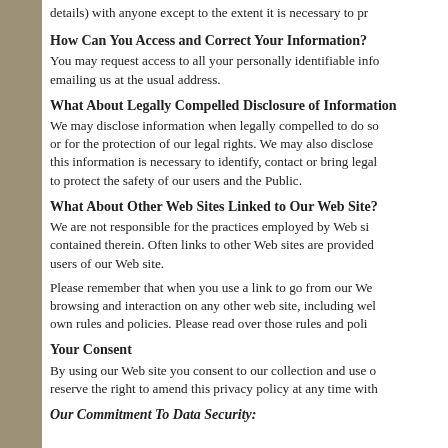details) with anyone except to the extent it is necessary to pr
How Can You Access and Correct Your Information?
You may request access to all your personally identifiable info emailing us at the usual address.
What About Legally Compelled Disclosure of Information?
We may disclose information when legally compelled to do so or for the protection of our legal rights. We may also disclose this information is necessary to identify, contact or bring legal to protect the safety of our users and the Public.
What About Other Web Sites Linked to Our Web Site?
We are not responsible for the practices employed by Web si contained therein. Often links to other Web sites are provided users of our Web site.
Please remember that when you use a link to go from our We browsing and interaction on any other web site, including wel own rules and policies. Please read over those rules and poli
Your Consent
By using our Web site you consent to our collection and use reserve the right to amend this privacy policy at any time with
Our Commitment To Data Security: